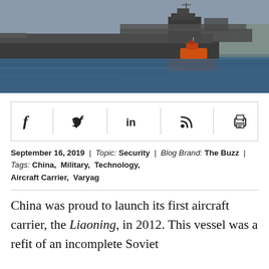[Figure (photo): A large aircraft carrier ship docked in a harbor, dark grey hull, alongside other naval vessels, with a small orange tugboat nearby. Blue water in foreground, city/hills in background.]
[Figure (infographic): Social sharing bar with icons for Facebook, Twitter, LinkedIn, RSS feed, and Print, separated by vertical dividers.]
September 16, 2019  |  Topic: Security  |  Blog Brand: The Buzz  |  Tags: China,  Military,  Technology,  Aircraft Carrier,  Varyag
China was proud to launch its first aircraft carrier, the Liaoning, in 2012. This vessel was a refit of an incomplete Soviet